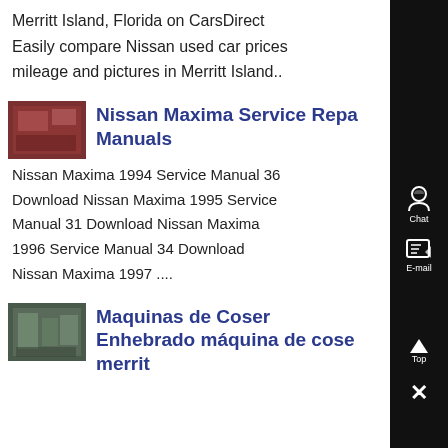Merritt Island, Florida on CarsDirect Easily compare Nissan used car prices mileage and pictures in Merritt Island..
Nissan Maxima Service Repair Manuals
[Figure (photo): Thumbnail image of a car interior/repair scene with red tones]
Nissan Maxima 1994 Service Manual 36 Download Nissan Maxima 1995 Service Manual 31 Download Nissan Maxima 1996 Service Manual 34 Download Nissan Maxima 1997 ....
Maquinas de Coser Enhebrado máquina de coser merrit
[Figure (photo): Thumbnail image of industrial machinery/sewing machines]